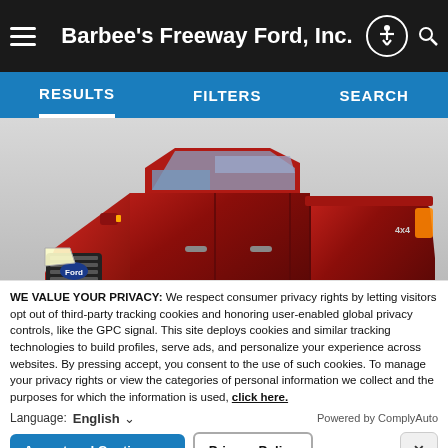Barbee's Freeway Ford, Inc.
RESULTS   FILTERS   SEARCH
[Figure (photo): Red Ford F-150 4x4 pickup truck shown from front-left angle on gray background, with a 'close' button overlay in bottom-right corner of the image area.]
WE VALUE YOUR PRIVACY: We respect consumer privacy rights by letting visitors opt out of third-party tracking cookies and honoring user-enabled global privacy controls, like the GPC signal. This site deploys cookies and similar tracking technologies to build profiles, serve ads, and personalize your experience across websites. By pressing accept, you consent to the use of such cookies. To manage your privacy rights or view the categories of personal information we collect and the purposes for which the information is used, click here.
Language:  English  ∨  Powered by ComplyAuto
Accept and Continue →   Privacy Policy   ×